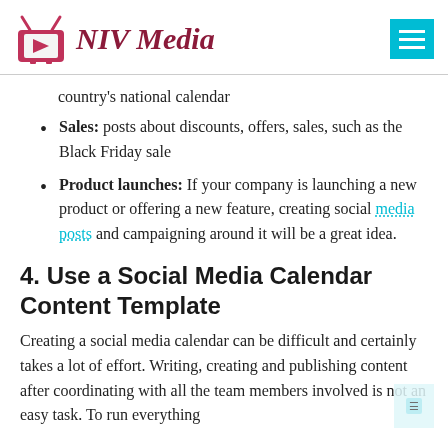NIV Media
country's national calendar
Sales: posts about discounts, offers, sales, such as the Black Friday sale
Product launches: If your company is launching a new product or offering a new feature, creating social media posts and campaigning around it will be a great idea.
4. Use a Social Media Calendar Content Template
Creating a social media calendar can be difficult and certainly takes a lot of effort. Writing, creating and publishing content after coordinating with all the team members involved is not an easy task. To run everything